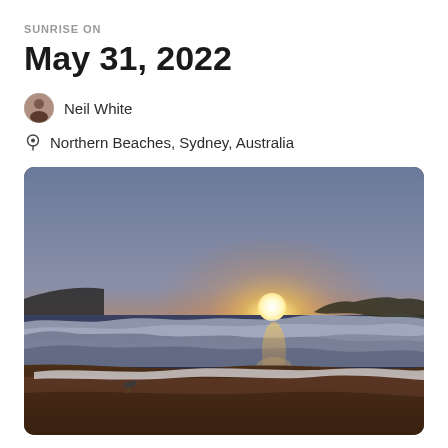SUNRISE ON
May 31, 2022
Neil White
Northern Beaches, Sydney, Australia
[Figure (photo): Sunrise beach photograph at Northern Beaches, Sydney, Australia. A bright sun sits just above the ocean horizon casting golden and orange light across the sky. Waves roll onto a sandy beach in the foreground with a seagull visible on the wet sand.]